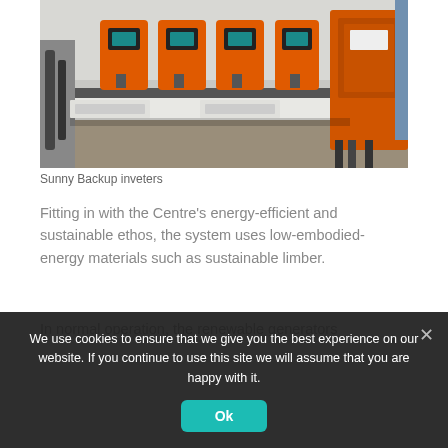[Figure (photo): Indoor room with four orange Sunny Backup inverter units mounted on a wall shelf, with a large orange electrical cabinet on the right side and wiring/cables visible.]
Sunny Backup inveters
Fitting in with the Centre's energy-efficient and sustainable ethos, the system uses low-embodied-energy materials such as sustainable limber.
In normal operation, the renewable generators
We use cookies to ensure that we give you the best experience on our website. If you continue to use this site we will assume that you are happy with it.